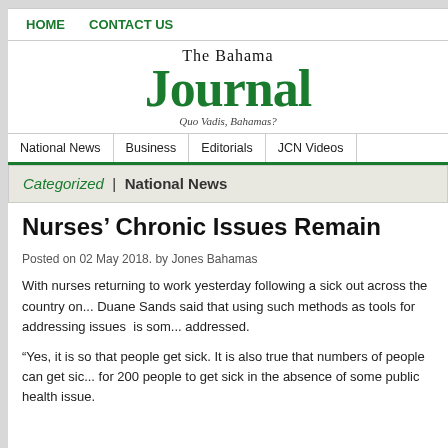HOME   CONTACT US
[Figure (logo): The Bahama Journal logo with masthead text 'The Bahama Journal' in green blackletter font and tagline 'Quo Vadis, Bahamas?']
National News | Business | Editorials | JCN Videos
Categorized | National News
Nurses' Chronic Issues Remain
Posted on 02 May 2018. by Jones Bahamas
With nurses returning to work yesterday following a sick out across the country on... Duane Sands said that using such methods as tools for addressing issues is som... addressed.
“Yes, it is so that people get sick. It is also true that numbers of people can get sic... for 200 people to get sick in the absence of some public health issue.